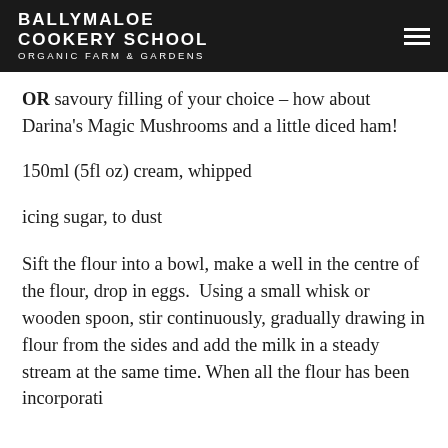BALLYMALOE COOKERY SCHOOL ORGANIC FARM & GARDENS
OR savoury filling of your choice – how about Darina's Magic Mushrooms and a little diced ham!
150ml (5fl oz) cream, whipped
icing sugar, to dust
Sift the flour into a bowl, make a well in the centre of the flour, drop in eggs.  Using a small whisk or wooden spoon, stir continuously, gradually drawing in flour from the sides and add the milk in a steady stream at the same time. When all the flour has been incorporated…